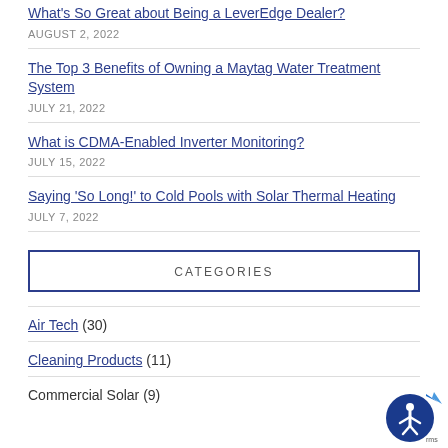What's So Great about Being a LeverEdge Dealer?
AUGUST 2, 2022
The Top 3 Benefits of Owning a Maytag Water Treatment System
JULY 21, 2022
What is CDMA-Enabled Inverter Monitoring?
JULY 15, 2022
Saying 'So Long!' to Cold Pools with Solar Thermal Heating
JULY 7, 2022
CATEGORIES
Air Tech (30)
Cleaning Products (11)
Commercial Solar (9)